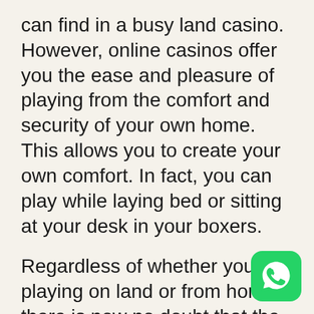can find in a busy land casino. However, online casinos offer you the ease and pleasure of playing from the comfort and security of your own home. This allows you to create your own comfort. In fact, you can play while laying bed or sitting at your desk in your boxers.
Regardless of whether you are playing on land or from home there is now no doubt that the Casino Cash Cow is on the rise. In fact, there are hundreds of individuals all over the world who are raking in a wealthy living from simply playing online casino games for high payouts.
[Figure (logo): WhatsApp icon — green rounded square with white phone handset symbol]